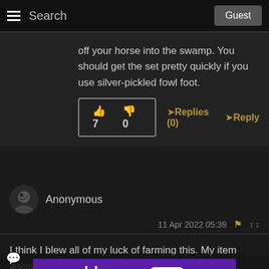Search | Guest
off your horse into the swamp. You should get the set pretty quickly if you use silver-pickled fowl foot.
👍 7  👎 0   ➤Replies (0)  ➤Reply
Anonymous
11 Apr 2022 05:39
I think I blew all of my luck of farming this. My item discovery is +99.99 and I got all of the weapons and ended up with like 5 of the sword.